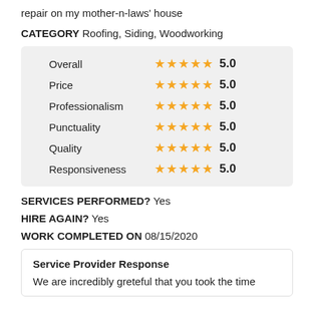repair on my mother-n-laws' house
CATEGORY Roofing, Siding, Woodworking
| Category | Stars | Score |
| --- | --- | --- |
| Overall | ★★★★★ | 5.0 |
| Price | ★★★★★ | 5.0 |
| Professionalism | ★★★★★ | 5.0 |
| Punctuality | ★★★★★ | 5.0 |
| Quality | ★★★★★ | 5.0 |
| Responsiveness | ★★★★★ | 5.0 |
SERVICES PERFORMED? Yes
HIRE AGAIN? Yes
WORK COMPLETED ON 08/15/2020
Service Provider Response
We are incredibly greteful that you took the time